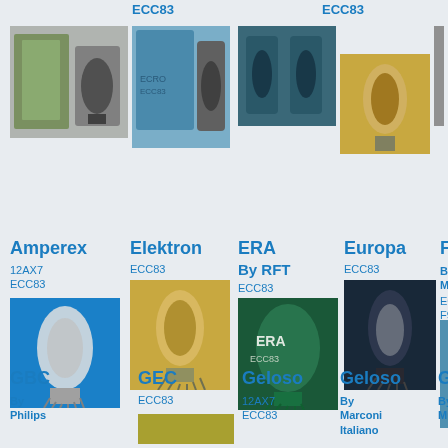ECC83
[Figure (photo): Vacuum tube ECC83 with box, top row col 1]
ECC83
[Figure (photo): ECRO ECC83 vacuum tube in blue box, top row col 2]
[Figure (photo): Two teal ECC83 vacuum tubes, top row col 3]
ECC83
[Figure (photo): Gold ECC83 vacuum tube, top row col 4]
[Figure (photo): ECC83 vacuum tube, top row col 5]
Amperex
12AX7 ECC83
[Figure (photo): Amperex 12AX7 ECC83 tube on blue background]
Elektron
ECC83
[Figure (photo): Elektron ECC83 vacuum tube]
ERA By RFT
ECC83
[Figure (photo): ERA by RFT ECC83 vacuum tube on green background]
Europa
ECC83
[Figure (photo): Europa ECC83 vacuum tube on dark background]
Ferranti By Mullard
ECC83 F91
[Figure (photo): Ferranti by Mullard ECC83 F91 vacuum tube]
GBC
By Philips
GEC
ECC83
Geloso
12AX7 ECC83
Geloso
By Marconi Italiano
GE
By Mullard